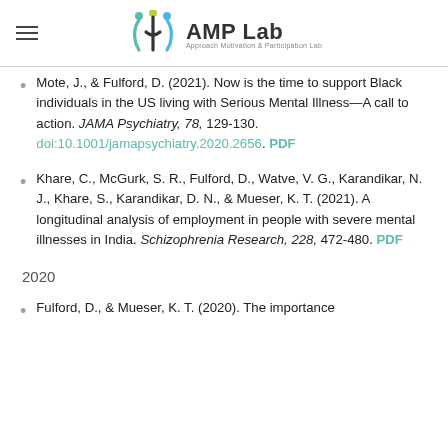AMP Lab — Approach Motivation & Participation Lab
Mote, J., & Fulford, D. (2021). Now is the time to support Black individuals in the US living with Serious Mental Illness—A call to action. JAMA Psychiatry, 78, 129-130. doi:10.1001/jamapsychiatry.2020.2656. PDF
Khare, C., McGurk, S. R., Fulford, D., Watve, V. G., Karandikar, N. J., Khare, S., Karandikar, D. N., & Mueser, K. T. (2021). A longitudinal analysis of employment in people with severe mental illnesses in India. Schizophrenia Research, 228, 472-480. PDF
2020
Fulford, D., & Mueser, K. T. (2020). The importance…